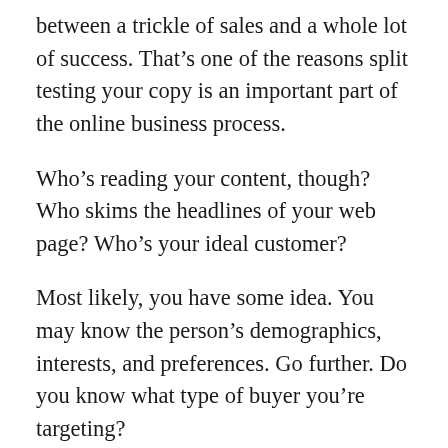between a trickle of sales and a whole lot of success. That's one of the reasons split testing your copy is an important part of the online business process.
Who's reading your content, though? Who skims the headlines of your web page? Who's your ideal customer?
Most likely, you have some idea. You may know the person's demographics, interests, and preferences. Go further. Do you know what type of buyer you're targeting?
There are different types of customers, and